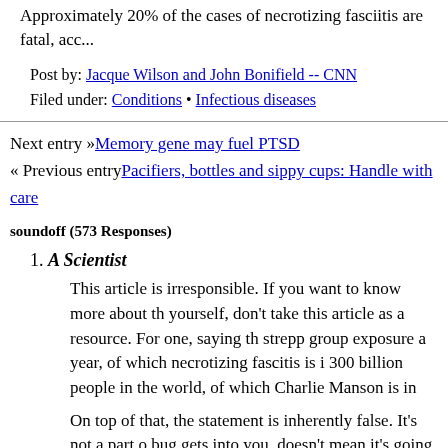Approximately 20% of the cases of necrotizing fasciitis are fatal, acc...
Post by: Jacque Wilson and John Bonifield -- CNN
Filed under: Conditions • Infectious diseases
Next entry »Memory gene may fuel PTSD
« Previous entryPacifiers, bottles and sippy cups: Handle with care
soundoff (573 Responses)
1. A Scientist
This article is irresponsible. If you want to know more about th... yourself, don't take this article as a resource. For one, saying th... strepp group exposure a year, of which necrotizing fascitis is i... 300 billion people in the world, of which Charlie Manson is in...
On top of that, the statement is inherently false. It's not a part o... bug gets into you, doesn't mean it's going to accomplish anythi... been exposed previously. The defining factor here is your imm... with that, then an exposure "might" (might with bells and whis... problems.
Don't cancel your vacation plans. I, on the other hand, am out o... print this article out and have a quiet moment.